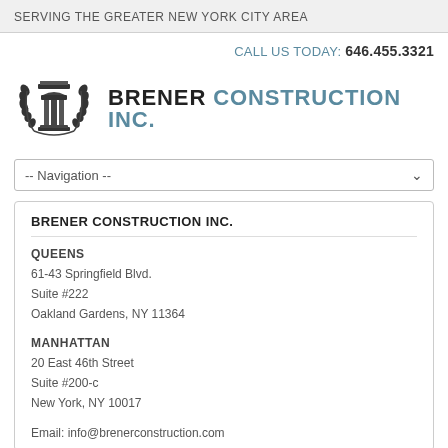SERVING THE GREATER NEW YORK CITY AREA
CALL US TODAY: 646.455.3321
[Figure (logo): Brener Construction Inc. logo with a classical column and laurel wreath emblem]
BRENER CONSTRUCTION INC.
-- Navigation --
BRENER CONSTRUCTION INC.
QUEENS
61-43 Springfield Blvd.
Suite #222
Oakland Gardens, NY 11364
MANHATTAN
20 East 46th Street
Suite #200-c
New York, NY 10017
Email: info@brenerconstruction.com